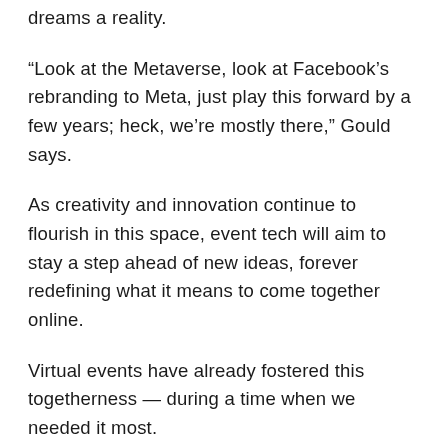dreams a reality.
“Look at the Metaverse, look at Facebook’s rebranding to Meta, just play this forward by a few years; heck, we’re mostly there,” Gould says.
As creativity and innovation continue to flourish in this space, event tech will aim to stay a step ahead of new ideas, forever redefining what it means to come together online.
Virtual events have already fostered this togetherness — during a time when we needed it most.
In 2022, expect to see next-level engagement strategies fueled by memories of a time when